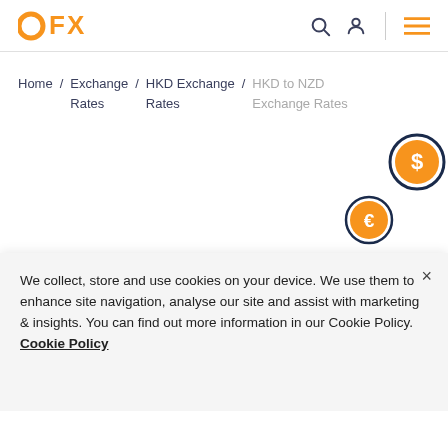OFX
Home / Exchange Rates / HKD Exchange Rates / HKD to NZD Exchange Rates
[Figure (illustration): Three currency coin icons with dollar, euro, and yen symbols arranged diagonally on the right side of the page]
We collect, store and use cookies on your device. We use them to enhance site navigation, analyse our site and assist with marketing & insights. You can find out more information in our Cookie Policy. Cookie Policy
Convert Hong Kong dollars to New Zealand dollars. Get fantastic